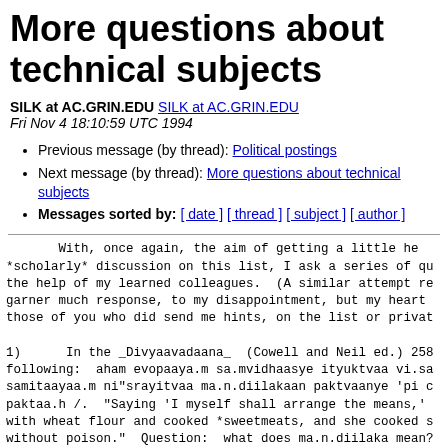More questions about technical subjects
SILK at AC.GRIN.EDU SILK at AC.GRIN.EDU
Fri Nov 4 18:10:59 UTC 1994
Previous message (by thread): Political postings
Next message (by thread): More questions about technical subjects
Messages sorted by: [ date ] [ thread ] [ subject ] [ author ]
With, once again, the aim of getting a little he *scholarly* discussion on this list, I ask a series of qu the help of my learned colleagues.  (A similar attempt re garner much response, to my disappointment, but my heart those of you who did send me hints, on the list or privat
1)      In the _Divyaavadaana_  (Cowell and Neil ed.) 258 following:  aham evopaaya.m sa.mvidhaasye ityuktvaa vi.sa samitaayaa.m ni"srayitvaa ma.n.diilakaan paktvaanye 'pi c paktaa.h /.  "Saying 'I myself shall arrange the means,' with wheat flour and cooked *sweetmeats, and she cooked s without poison."  Question:  what does ma.n.diilaka mean? the term anywhere.  Should it be connected with ma.n.dak